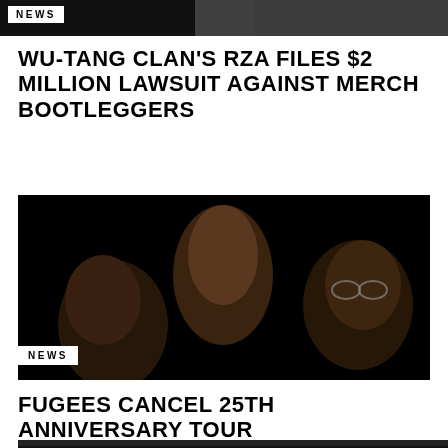[Figure (photo): Partial photo at top of page showing people in dark clothing, cropped at top]
NEWS
WU-TANG CLAN'S RZA FILES $2 MILLION LAWSUIT AGAINST MERCH BOOTLEGGERS
[Figure (photo): Black and white photo of three members of the Fugees against a black background]
NEWS
FUGEES CANCEL 25TH ANNIVERSARY TOUR
[Figure (photo): Partial photo at bottom of page, cropped]